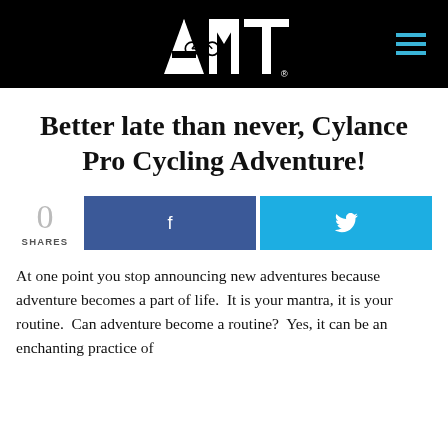AMT logo and navigation header
Better late than never, Cylance Pro Cycling Adventure!
0 SHARES
At one point you stop announcing new adventures because adventure becomes a part of life.  It is your mantra, it is your routine.  Can adventure become a routine?  Yes, it can be an enchanting practice of